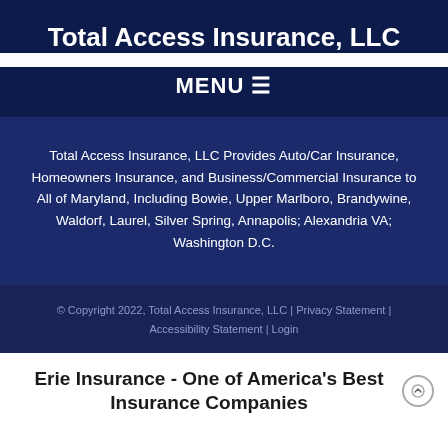Total Access Insurance, LLC
MENU ☰
Total Access Insurance, LLC Provides Auto/Car Insurance, Homeowners Insurance, and Business/Commercial Insurance to All of Maryland, Including Bowie, Upper Marlboro, Brandywine, Waldorf, Laurel, Silver Spring, Annapolis; Alexandria VA; Washington D.C.
© Copyright 2022, Total Access Insurance, LLC | Privacy Statement | Accessibility Statement | Login
Erie Insurance - One of America's Best Insurance Companies